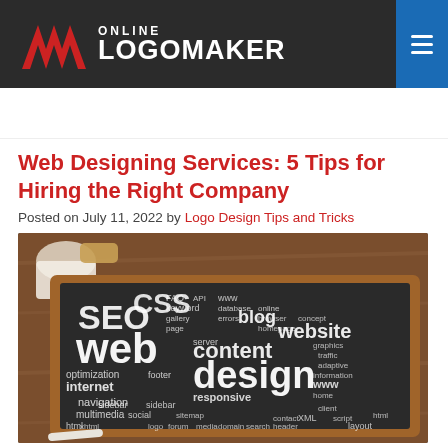ONLINE LOGOMAKER
Web Designing Services: 5 Tips for Hiring the Right Company
Posted on July 11, 2022 by Logo Design Tips and Tricks
[Figure (photo): A chalkboard with web design word cloud including terms: SEO, CSS, web, blog, content, website, internet, design, and many other web-related keywords, placed on a wooden table with a coffee cup and pastry in the background.]